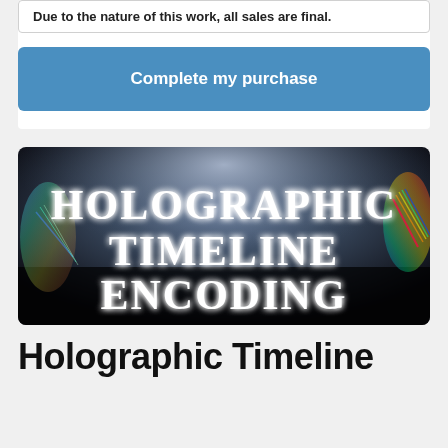Due to the nature of this work, all sales are final.
Complete my purchase
[Figure (illustration): Dark holographic background image with glowing white serif text reading HOLOGRAPHIC TIMELINE ENCODING, with rainbow prismatic light effects on the sides]
Holographic Timeline